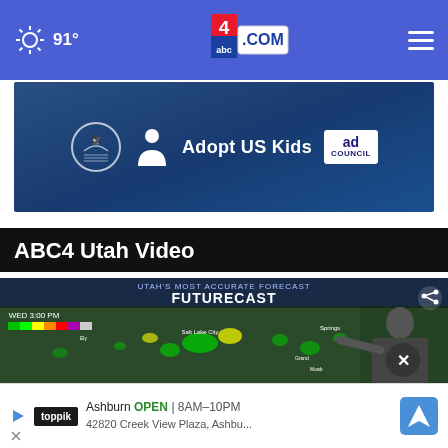91° abc4.com
[Figure (screenshot): AdoptUSKids advertisement banner with HHS logo, person icon, AdoptUSKids text and Ad Council badge on blue background]
ABC4 Utah Video
[Figure (screenshot): ABC4 Utah weather video thumbnail showing FUTURECAST for WED 3:00 PM with a meteorologist pointing at a weather radar map of Utah showing storm cells]
[Figure (screenshot): Bottom ad banner: Toppik logo with Ashburn OPEN 8AM-10PM, 42820 Creek View Plaza, Ashbu... and navigation icon]